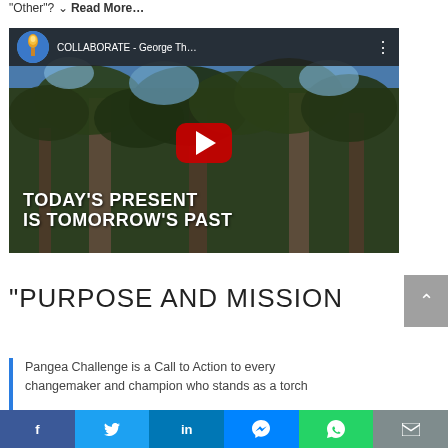“Other”? ⌄ Read More…
[Figure (screenshot): YouTube video thumbnail showing forest trees from below with text overlay 'TODAY'S PRESENT IS TOMORROW'S PAST'. Video title reads 'COLLABORATE - George Th...' with YouTube play button.]
“PURPOSE AND MISSION
Pangea Challenge is a Call to Action to every changemaker and champion who stands as a torch
Facebook | Twitter | LinkedIn | Messenger | WhatsApp | Email